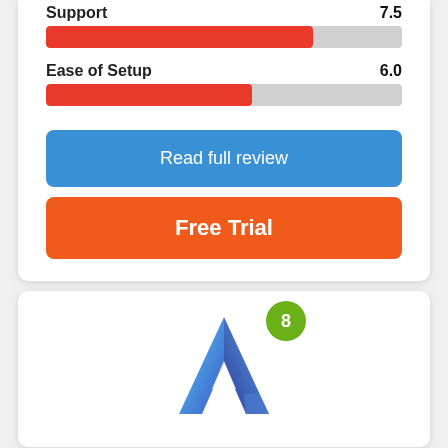Support
[Figure (infographic): Red progress bar for Support rating, approximately 75% filled]
Ease of Setup  6.0
[Figure (infographic): Red progress bar for Ease of Setup rating, approximately 58% filled]
Read full review
Free Trial
[Figure (logo): Blue 'A' shaped logo with a green circular badge showing the number 8]